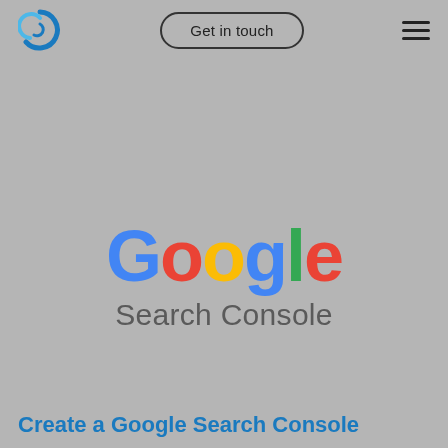[Figure (logo): Circular blue swirl logo icon]
Get in touch
[Figure (other): Hamburger menu icon with three horizontal lines]
[Figure (logo): Google Search Console logo with colorful Google wordmark and 'Search Console' subtitle in gray]
Create a Google Search Console